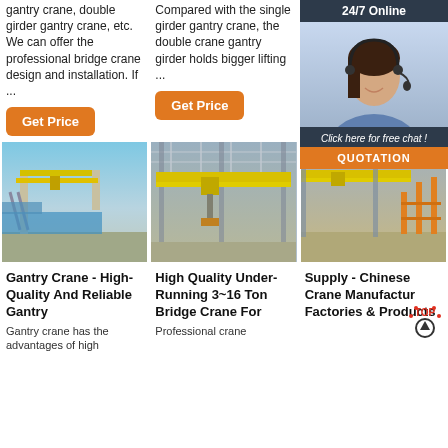gantry crane, double girder gantry crane, etc. We can offer the professional bridge crane design and installation. If ...
Compared with the single girder gantry crane, the double crane gantry girder holds bigger lifting ...
kind of deformation of bridge crane, also called gantry crane.
[Figure (infographic): Chat widget overlay with '24/7 Online' bar, agent photo with headset, 'Click here for free chat!' banner, and QUOTATION button]
[Figure (photo): Outdoor gantry crane with yellow beam and blue scaffold structure against sky]
[Figure (photo): Indoor bridge crane with yellow overhead beam in industrial warehouse]
[Figure (photo): Warehouse interior with yellow overhead crane and orange storage racks]
Gantry Crane - High-Quality And Reliable Gantry
Gantry crane has the advantages of high
High Quality Under-Running 3~16 Ton Bridge Crane For
Professional crane
Supply - Chinese Crane Manufactur Factories & Products